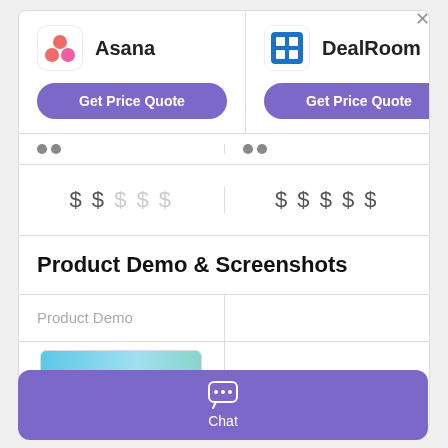[Figure (screenshot): Comparison card UI showing Asana vs DealRoom software comparison with logos, Get Price Quote buttons, pricing indicators, Product Demo & Screenshots section header, Product Demo sublabel, a demo screenshot thumbnail for Asana, and N/A for DealRoom]
Chat